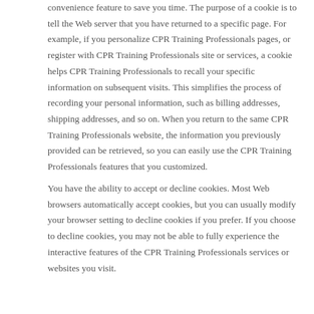convenience feature to save you time. The purpose of a cookie is to tell the Web server that you have returned to a specific page. For example, if you personalize CPR Training Professionals pages, or register with CPR Training Professionals site or services, a cookie helps CPR Training Professionals to recall your specific information on subsequent visits. This simplifies the process of recording your personal information, such as billing addresses, shipping addresses, and so on. When you return to the same CPR Training Professionals website, the information you previously provided can be retrieved, so you can easily use the CPR Training Professionals features that you customized.
You have the ability to accept or decline cookies. Most Web browsers automatically accept cookies, but you can usually modify your browser setting to decline cookies if you prefer. If you choose to decline cookies, you may not be able to fully experience the interactive features of the CPR Training Professionals services or websites you visit.